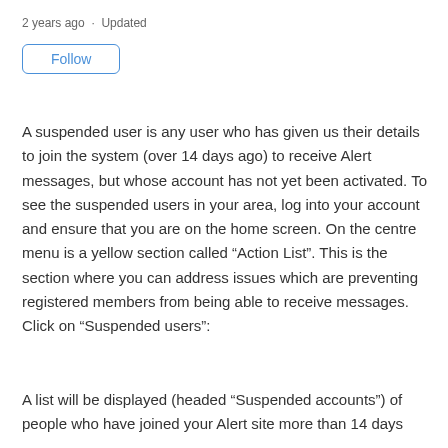2 years ago · Updated
Follow
A suspended user is any user who has given us their details to join the system (over 14 days ago) to receive Alert messages, but whose account has not yet been activated. To see the suspended users in your area, log into your account and ensure that you are on the home screen. On the centre menu is a yellow section called “Action List”. This is the section where you can address issues which are preventing registered members from being able to receive messages. Click on “Suspended users”:
A list will be displayed (headed “Suspended accounts”) of people who have joined your Alert site more than 14 days